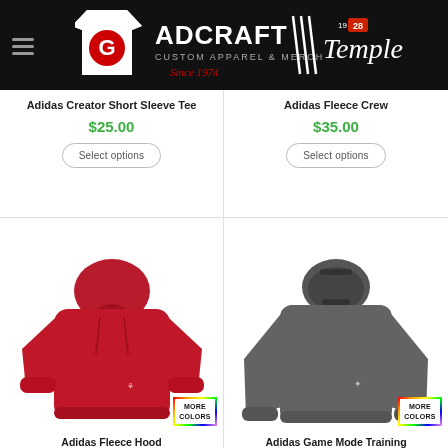[Figure (logo): Adcraft Custom Apparel & Merch / Temple's since 1928 logo on black header bar]
Adidas Creator Short Sleeve Tee
$25.00
Select options
Adidas Fleece Crew
$35.00
Select options
[Figure (photo): Red Adidas fleece hoodie sweatshirt with MORE COLORS badge]
Adidas Fleece Hood
[Figure (photo): Dark gray Adidas Game Mode Training hooded long sleeve shirt with MORE COLORS badge]
Adidas Game Mode Training